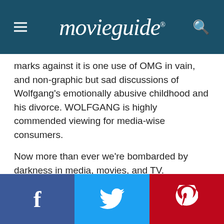movieguide.
marks against it is one use of OMG in vain, and non-graphic but sad discussions of Wolfgang's emotionally abusive childhood and his divorce. WOLFGANG is highly commended viewing for media-wise consumers.
Now more than ever we're bombarded by darkness in media, movies, and TV. Movieguide® has fought back for almost 40 years, working within Hollywood to propel uplifting and positive content. We're proud to say we've collaborated with some of the top industry players to influence and redeem entertainment for Jesus. Still, the most influential person in Hollywood is you. The viewer.
What you listen to, watch, and read has power. Movieguide® wants to give you the resources to empower the good and the
Facebook Twitter Pinterest